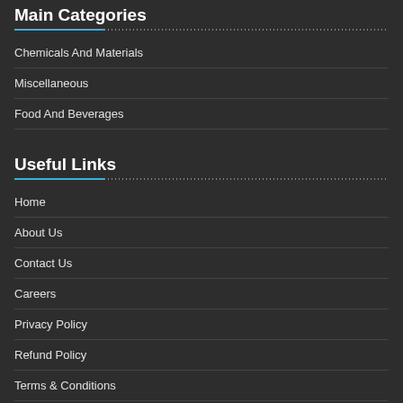Main Categories
Chemicals And Materials
Miscellaneous
Food And Beverages
Useful Links
Home
About Us
Contact Us
Careers
Privacy Policy
Refund Policy
Terms & Conditions